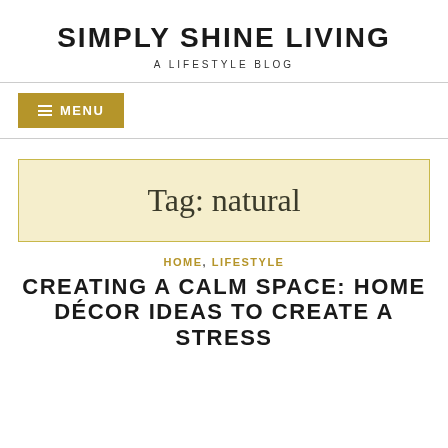SIMPLY SHINE LIVING
A LIFESTYLE BLOG
☰ MENU
Tag: natural
HOME, LIFESTYLE
CREATING A CALM SPACE: HOME DÉCOR IDEAS TO CREATE A STRESS